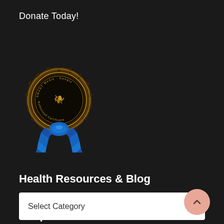Donate Today!
[Figure (illustration): A circular award/certification badge with blue ribbon and gold seal, text around the edge reads 'SMART Media' and 'Google Authorized Certificate']
Health Resources & Blog
Select Category
Shop